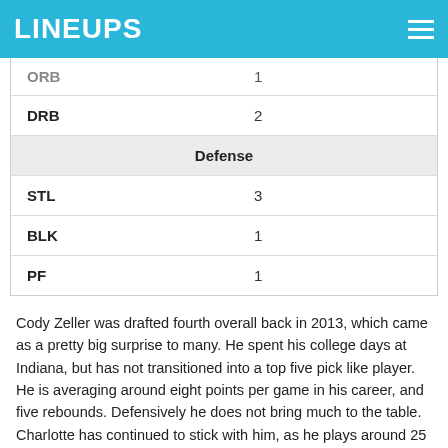LINEUPS
| ORB | 1 |
| DRB | 2 |
| Defense |  |
| STL | 3 |
| BLK | 1 |
| PF | 1 |
Cody Zeller was drafted fourth overall back in 2013, which came as a pretty big surprise to many. He spent his college days at Indiana, but has not transitioned into a top five pick like player. He is averaging around eight points per game in his career, and five rebounds. Defensively he does not bring much to the table. Charlotte has continued to stick with him, as he plays around 25 minutes a night, with little fantasy worth. It is hard to envision Zeller making it in the league at this point, and the same goes for his brother Tyler.